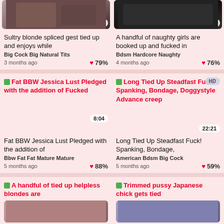[Figure (screenshot): Video thumbnail top-left, partial view, duration 5:59]
[Figure (screenshot): Video thumbnail top-right, partial view, duration 4:03]
Sultry blonde spliced gest tied up and enjoys while
Big Cock  Big Natural Tits
3 months ago  79%
A handful of naughty girls are booked up and fucked in
Bdsm  Hardcore  Naughty
4 months ago  76%
[Figure (screenshot): Video thumbnail for Fat BBW Jessica Lust, placeholder with link text, duration 8:04]
[Figure (screenshot): Video thumbnail for Long Tied Up Steadfast Fuck with HD badge, duration 22:21]
Fat BBW Jessica Lust Pledged with the addition of
Bbw  Fat  Fat Mature  Mature
5 months ago  88%
Long Tied Up Steadfast Fuck! Spanking, Bondage,
American  Bdsm  Big Cock
5 months ago  59%
[Figure (screenshot): Partial thumbnail bottom-left: A handful of tied up helpless blondes are]
[Figure (screenshot): Partial thumbnail bottom-right: Trimmed pussy Japanese chick gets tied]